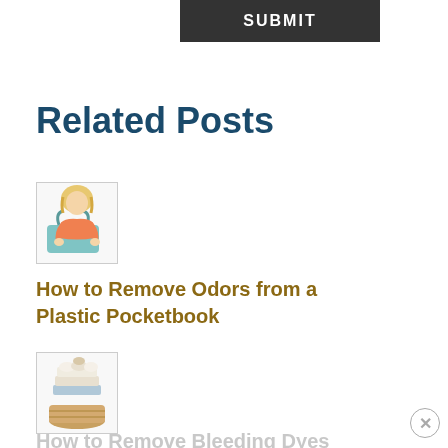SUBMIT
Related Posts
[Figure (photo): Woman looking into a light blue plastic pocketbook/purse]
How to Remove Odors from a Plastic Pocketbook
[Figure (photo): Stack of folded laundry towels in a wicker basket]
How to Remove Bleeding Dyes